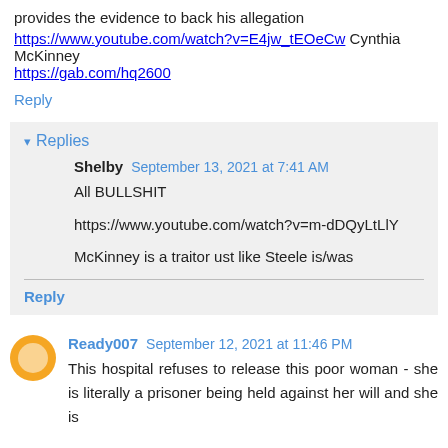provides the evidence to back his allegation https://www.youtube.com/watch?v=E4jw_tEOeCw Cynthia McKinney https://gab.com/hq2600
Reply
Replies
Shelby September 13, 2021 at 7:41 AM
All BULLSHIT

https://www.youtube.com/watch?v=m-dDQyLtLlY

McKinney is a traitor ust like Steele is/was
Reply
Ready007 September 12, 2021 at 11:46 PM
This hospital refuses to release this poor woman - she is literally a prisoner being held against her will and she is